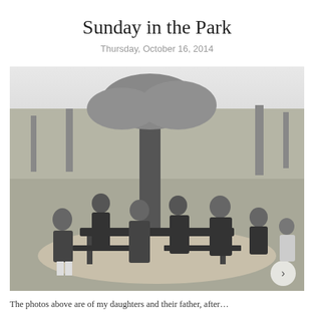Sunday in the Park
Thursday, October 16, 2014
[Figure (photo): Black and white family photo taken in a park. A group of seven people — one adult man and six girls/young women — are gathered around a picnic table near a large tree. Some sit on the bench, others stand or crouch nearby. The setting is a grassy park with trees in the background.]
The photos above are of my daughters and their father, after...